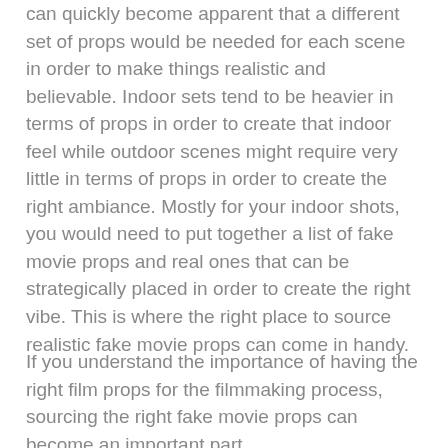can quickly become apparent that a different set of props would be needed for each scene in order to make things realistic and believable. Indoor sets tend to be heavier in terms of props in order to create that indoor feel while outdoor scenes might require very little in terms of props in order to create the right ambiance. Mostly for your indoor shots, you would need to put together a list of fake movie props and real ones that can be strategically placed in order to create the right vibe. This is where the right place to source realistic fake movie props can come in handy.
If you understand the importance of having the right film props for the filmmaking process, sourcing the right fake movie props can become an important part